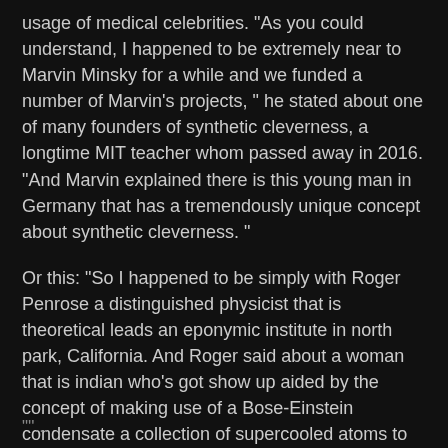usage of medical celebrities. "As you could understand, I happened to be extremely near to Marvin Minsky for a while and we funded a number of Marvin's projects, " he stated about one of many founders of synthetic cleverness, a longtime MIT teacher whom passed away in 2016. "And Marvin explained there is this young man in Germany that has a tremendously unique concept about synthetic cleverness. "
Or this: "So I happened to be simply with Roger Penrose a distinguished physicist that is theoretical leads an eponymic institute in north park, California. And Roger said about a woman that is indian who's got show up aided by the concept of making use of a Bose-Einstein condensate a collection of supercooled atoms to get gravitational waves. "
""...